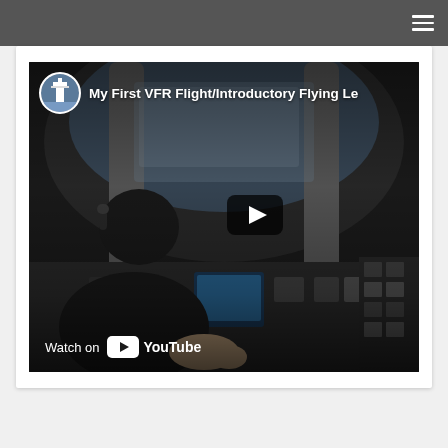Navigation bar with hamburger menu
[Figure (screenshot): YouTube video thumbnail showing a pilot in a small aircraft cockpit viewed from behind/side, with cockpit instruments visible. The video is titled 'My First VFR Flight/Introductory Flying Le...' with a channel avatar showing an airport control tower. A play button is visible in the center-right. A 'Watch on YouTube' watermark appears at the bottom left.]